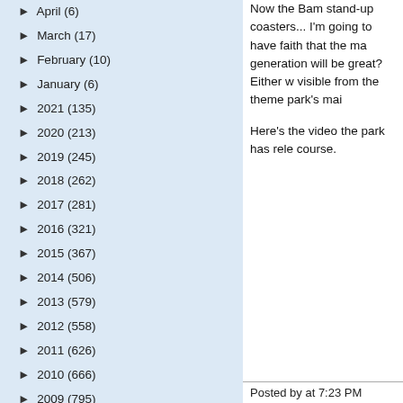► April (6)
► March (17)
► February (10)
► January (6)
► 2021 (135)
► 2020 (213)
► 2019 (245)
► 2018 (262)
► 2017 (281)
► 2016 (321)
► 2015 (367)
► 2014 (506)
► 2013 (579)
► 2012 (558)
► 2011 (626)
► 2010 (666)
► 2009 (795)
► 2008 (810)
► 2007 (524)
► 2006 (27)
Now the Bam stand-up coasters... I'm going to have faith that the ma generation will be great?  Either w visible from the theme park's mai
Here's the video the park has rele course.
Posted by at 7:23 PM